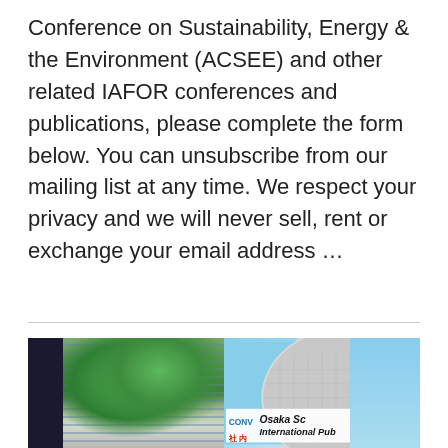Conference on Sustainability, Energy & the Environment (ACSEE) and other related IAFOR conferences and publications, please complete the form below. You can unsubscribe from our mailing list at any time. We respect your privacy and we will never sell, rent or exchange your email address …
[Figure (photo): Composite photo showing two scenes side by side: left side shows a dark multi-story building with windows and a green tree in front; right side shows a curved white/grey building with a sign reading 'Osaka Science International Public' and Japanese characters, with blue sky visible.]